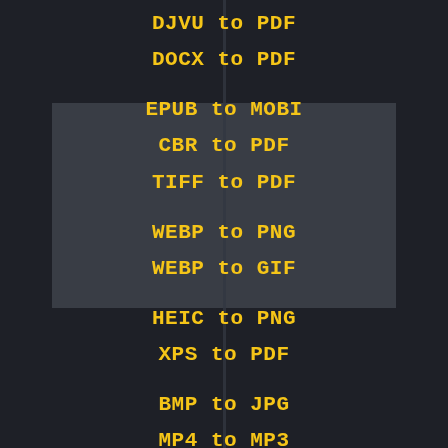DJVU to PDF
DOCX to PDF
EPUB to MOBI
CBR to PDF
TIFF to PDF
WEBP to PNG
WEBP to GIF
HEIC to PNG
XPS to PDF
BMP to JPG
MP4 to MP3
WAV to MP3